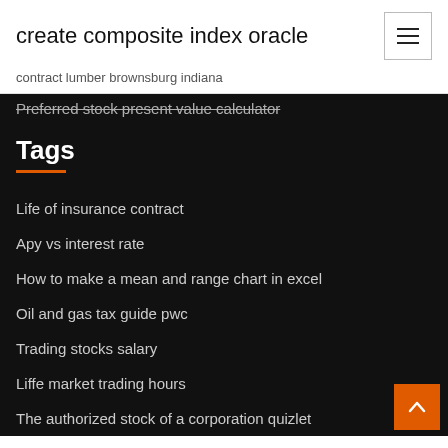create composite index oracle
contract lumber brownsburg indiana
Preferred stock present value calculator
Tags
Life of insurance contract
Apy vs interest rate
How to make a mean and range chart in excel
Oil and gas tax guide pwc
Trading stocks salary
Liffe market trading hours
The authorized stock of a corporation quizlet